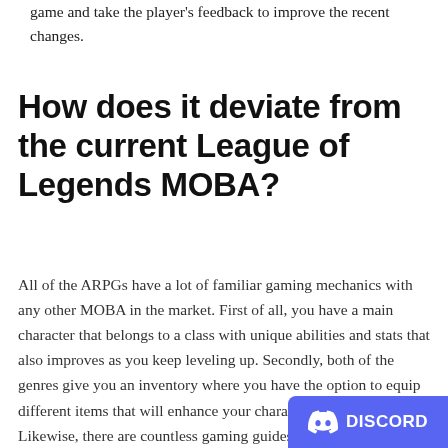game and take the player's feedback to improve the recent changes.
How does it deviate from the current League of Legends MOBA?
All of the ARPGs have a lot of familiar gaming mechanics with any other MOBA in the market. First of all, you have a main character that belongs to a class with unique abilities and stats that also improves as you keep leveling up. Secondly, both of the genres give you an inventory where you have the option to equip different items that will enhance your characters even further. Likewise, there are countless gaming guides over the Internet that give you a better idea of what abilities to use and what items to obtain.
[Figure (logo): Discord badge/button in bottom right corner with Discord logo and text 'DISCORD']